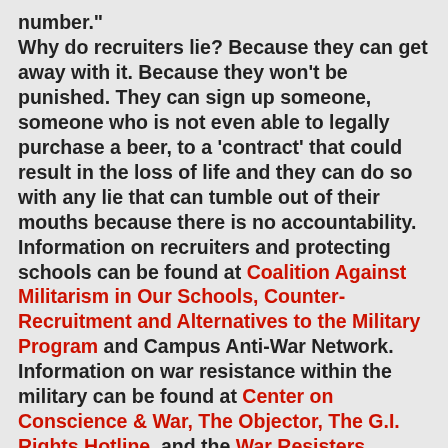number." Why do recruiters lie? Because they can get away with it. Because they won't be punished. They can sign up someone, someone who is not even able to legally purchase a beer, to a 'contract' that could result in the loss of life and they can do so with any lie that can tumble out of their mouths because there is no accountability. Information on recruiters and protecting schools can be found at Coalition Against Militarism in Our Schools, Counter-Recruitment and Alternatives to the Military Program and Campus Anti-War Network. Information on war resistance within the military can be found at Center on Conscience & War, The Objector, The G.I. Rights Hotline, and the War Resisters Support Campaign. Courage to Resist offers information on all public war resisters. Appeal for Redress is collecting signatures of active duty service members calling on Congress to bring the troops home. "When the money's gone/ Will you be my friend?" asks Cher in "When The Money's Gone" (Living Proof) and it's a question Halliburton may be wondering about the